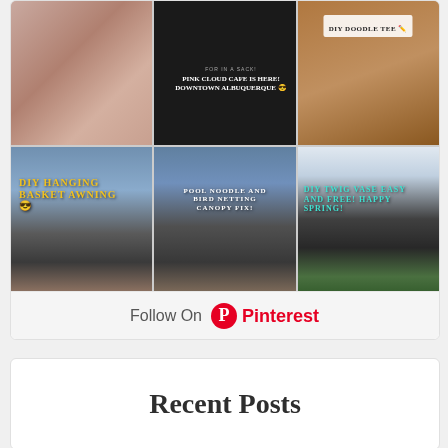[Figure (screenshot): Pinterest grid widget showing 6 images: DIY crafts and outdoor projects. Row 1: fabric/pink pattern, Pink Cloud Cafe sign in Albuquerque, DIY Doodle Tee sign. Row 2: DIY Hanging Basket Awning with bench, Pool Noodle and Bird Netting Canopy Fix with bench, DIY Twig Vase Easy and Free Happy Spring with rabbit and flowers.]
Follow On Pinterest
Recent Posts